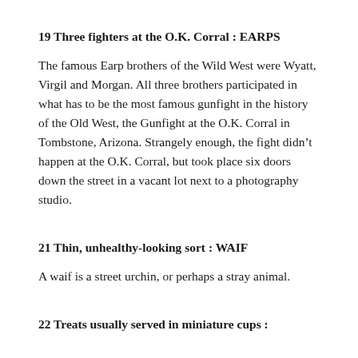19 Three fighters at the O.K. Corral : EARPS
The famous Earp brothers of the Wild West were Wyatt, Virgil and Morgan. All three brothers participated in what has to be the most famous gunfight in the history of the Old West, the Gunfight at the O.K. Corral in Tombstone, Arizona. Strangely enough, the fight didn’t happen at the O.K. Corral, but took place six doors down the street in a vacant lot next to a photography studio.
21 Thin, unhealthy-looking sort : WAIF
A waif is a street urchin, or perhaps a stray animal.
22 Treats usually served in miniature cups :